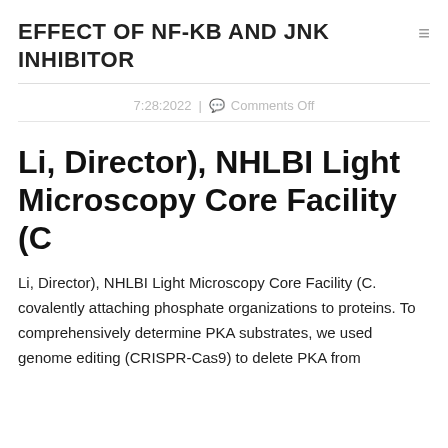EFFECT OF NF-KB AND JNK INHIBITOR
7:28:2022 | Comments Off
Li, Director), NHLBI Light Microscopy Core Facility (C
Li, Director), NHLBI Light Microscopy Core Facility (C. covalently attaching phosphate organizations to proteins. To comprehensively determine PKA substrates, we used genome editing (CRISPR-Cas9) to delete PKA from